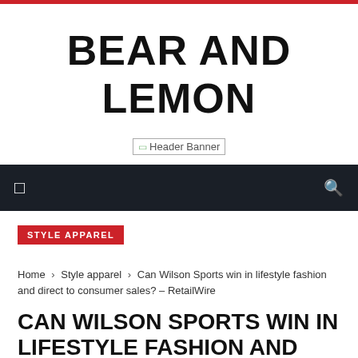BEAR AND LEMON
[Figure (other): Header Banner placeholder image]
Navigation bar with menu and search icons
STYLE APPAREL
Home › Style apparel › Can Wilson Sports win in lifestyle fashion and direct to consumer sales? – RetailWire
CAN WILSON SPORTS WIN IN LIFESTYLE FASHION AND DIRECT TO CONSUMER SALES? – RETAILWIRE